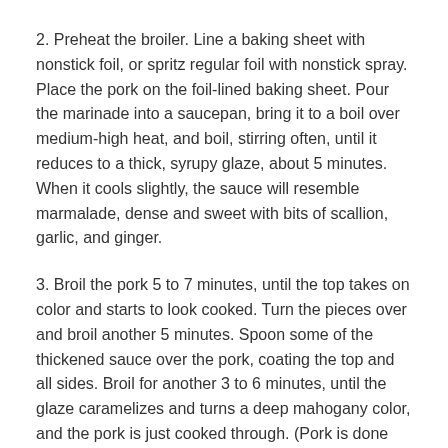2. Preheat the broiler. Line a baking sheet with nonstick foil, or spritz regular foil with nonstick spray. Place the pork on the foil-lined baking sheet. Pour the marinade into a saucepan, bring it to a boil over medium-high heat, and boil, stirring often, until it reduces to a thick, syrupy glaze, about 5 minutes. When it cools slightly, the sauce will resemble marmalade, dense and sweet with bits of scallion, garlic, and ginger.
3. Broil the pork 5 to 7 minutes, until the top takes on color and starts to look cooked. Turn the pieces over and broil another 5 minutes. Spoon some of the thickened sauce over the pork, coating the top and all sides. Broil for another 3 to 6 minutes, until the glaze caramelizes and turns a deep mahogany color, and the pork is just cooked through. (Pork is done when the internal temperature reaches 160 degrees F. At this temperature, the interior will still be pale pink but safe to eat.)